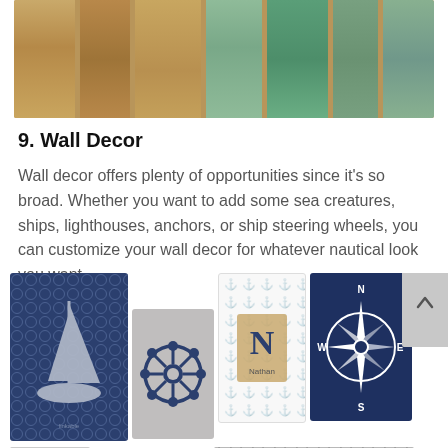[Figure (photo): Top portion of colorful distressed wood panel wall art in tan, brown, and teal/green tones on a light floor background]
9. Wall Decor
Wall decor offers plenty of opportunities since it's so broad. Whether you want to add some sea creatures, ships, lighthouses, anchors, or ship steering wheels, you can customize your wall decor for whatever nautical look you want.
[Figure (photo): Collection of nautical wall art prints including: navy blue sailboat print, gray ship steering wheel print, white anchor pattern with monogram N print, navy blue compass rose print, and a gray quatrefoil pattern print. A scroll-up button is visible on the right.]